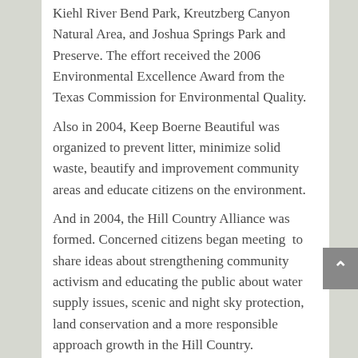Kiehl River Bend Park, Kreutzberg Canyon Natural Area, and Joshua Springs Park and Preserve. The effort received the 2006 Environmental Excellence Award from the Texas Commission for Environmental Quality.
Also in 2004, Keep Boerne Beautiful was organized to prevent litter, minimize solid waste, beautify and improvement community areas and educate citizens on the environment.
And in 2004, the Hill Country Alliance was formed. Concerned citizens began meeting to share ideas about strengthening community activism and educating the public about water supply issues, scenic and night sky protection, land conservation and a more responsible approach growth in the Hill Country.
In 2004, The Nature Center Book was published, providing thousands of towns with the development blueprint created at the Cibolo Nature Center. The